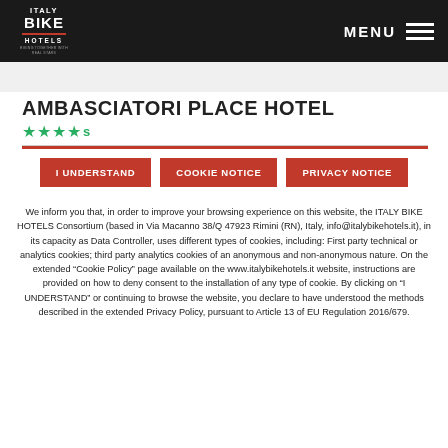Italy Bike Hotels — MENU
AMBASCIATORI PLACE HOTEL
★★★★s
I UNDERSTAND   COOKIE NOTICE   PRIVACY NOTICE
We inform you that, in order to improve your browsing experience on this website, the ITALY BIKE HOTELS Consortium (based in Via Macanno 38/Q 47923 Rimini (RN), Italy, info@italybikehotels.it), in its capacity as Data Controller, uses different types of cookies, including: First party technical or analytics cookies; third party analytics cookies of an anonymous and non-anonymous nature. On the extended "Cookie Policy" page available on the www.italybikehotels.it website, instructions are provided on how to deny consent to the installation of any type of cookie. By clicking on "I UNDERSTAND" or continuing to browse the website, you declare to have understood the methods described in the extended Privacy Policy, pursuant to Article 13 of EU Regulation 2016/679.